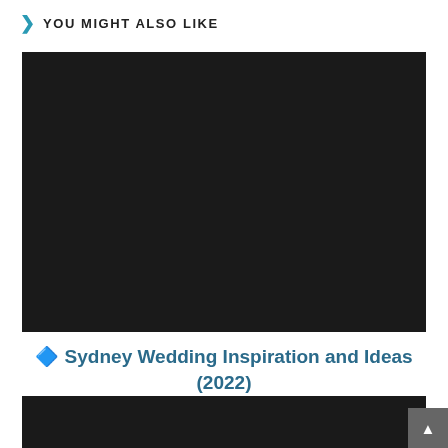YOU MIGHT ALSO LIKE
[Figure (photo): Large dark/black rectangular image placeholder]
🔷 Sydney Wedding Inspiration and Ideas (2022)
January 13, 2022
[Figure (photo): Partial dark/black rectangular image at bottom of page]